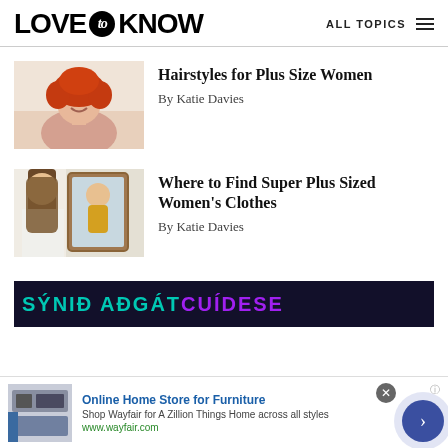LOVE to KNOW  ALL TOPICS
[Figure (photo): Woman with curly red hair laughing, wearing a halter top, against a light background]
Hairstyles for Plus Size Women
By Katie Davies
[Figure (photo): Woman with long brown hair looking at a mirror reflection of a plus-size woman holding a yellow top]
Where to Find Super Plus Sized Women's Clothes
By Katie Davies
[Figure (other): Ad banner: SÝNIÐ AÐGÁT CUÍDESE in teal and purple on dark background]
[Figure (other): Bottom advertisement: Online Home Store for Furniture - Shop Wayfair for A Zillion Things Home across all styles - www.wayfair.com]